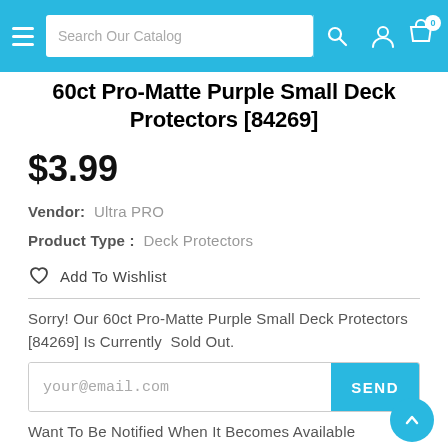Search Our Catalog
60ct Pro-Matte Purple Small Deck Protectors [84269]
$3.99
Vendor:  Ultra PRO
Product Type :  Deck Protectors
Add To Wishlist
Sorry! Our 60ct Pro-Matte Purple Small Deck Protectors [84269] Is Currently  Sold Out.
your@email.com
Want To Be Notified When It Becomes Available Again? Simply Register Your Interest And We'll